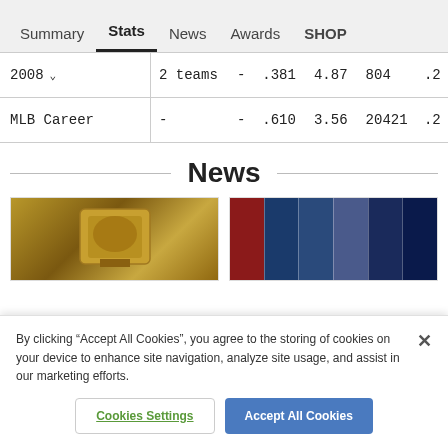Summary  Stats  News  Awards  SHOP
| Year | Teams | Col3 | Col4 | Col5 | Col6 | Col7 |
| --- | --- | --- | --- | --- | --- | --- |
| 2008 | 2 teams | - | .381 | 4.87 | 804 | .2 |
| MLB Career | - | - | .610 | 3.56 | 20421 | .2 |
News
[Figure (photo): Hall of Fame plaque - gold baseball plaque on brown background]
[Figure (photo): Collage of baseball players in various team uniforms]
By clicking "Accept All Cookies", you agree to the storing of cookies on your device to enhance site navigation, analyze site usage, and assist in our marketing efforts.
Cookies Settings  Accept All Cookies